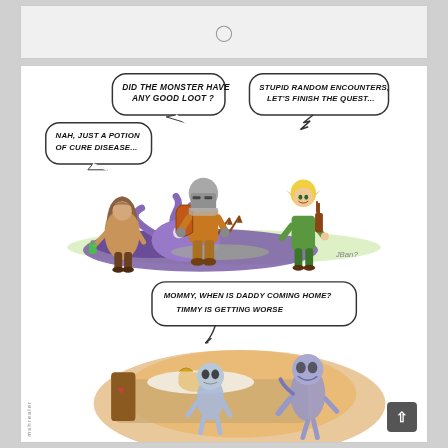[Figure (illustration): Top panel: blank/loading panel with a clock icon in the center]
[Figure (illustration): Two-panel fantasy RPG webcomic. Top scene: three adventurers (a robed figure with a potion, an armored knight with shield, and an elf archer) stand over a defeated purple tentacle monster. Speech bubbles: 'Did the Monster Have any Good Loot?', 'Nah, Just a Potion of Cure Disease...', 'Stupid Random Encounters, Let's Finish the Quest...' Bottom scene: a sick person in bed with zombie/undead child figures beside them. Speech bubble: 'Mommy, when is Daddy coming Home? Timmy is Getting Worse'. Side watermark text: 'mshrealer']